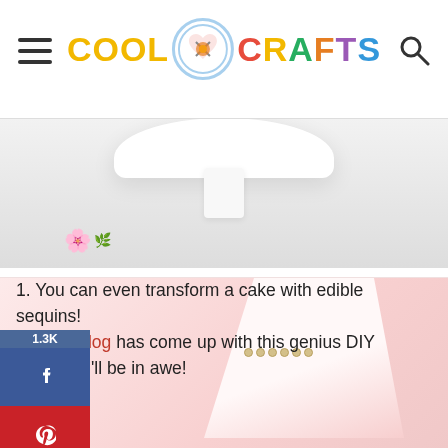COOL CRAFTS
[Figure (photo): A white cake stand or plate with pink/red flowers and green leaves on a light grey background]
1. You can even transform a cake with edible sequins! The Cake Blog has come up with this genius DIY project – you'll be in awe!
[Figure (photo): A pink cake slice or cake piece with pearl-like decorations on a white background]